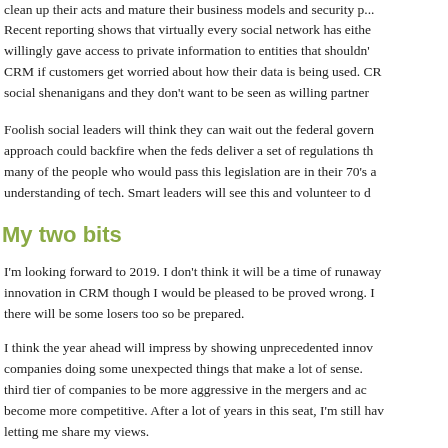clean up their acts and mature their business models and security p...
Recent reporting shows that virtually every social network has either willingly gave access to private information to entities that shouldn't CRM if customers get worried about how their data is being used. CR social shenanigans and they don't want to be seen as willing partner
Foolish social leaders will think they can wait out the federal govern approach could backfire when the feds deliver a set of regulations th many of the people who would pass this legislation are in their 70's a understanding of tech. Smart leaders will see this and volunteer to d
My two bits
I'm looking forward to 2019. I don't think it will be a time of runaway innovation in CRM though I would be pleased to be proved wrong. I there will be some losers too so be prepared.
I think the year ahead will impress by showing unprecedented innov companies doing some unexpected things that make a lot of sense. third tier of companies to be more aggressive in the mergers and acc become more competitive. After a lot of years in this seat, I'm still hav letting me share my views.